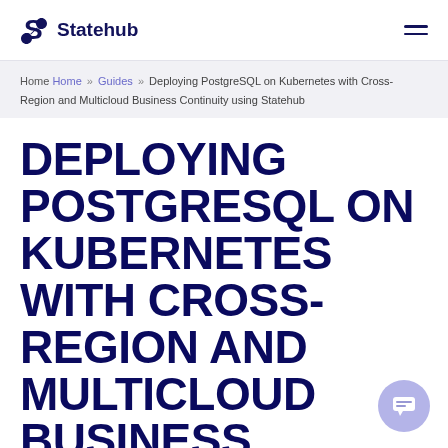Statehub
Home Home » Guides » Deploying PostgreSQL on Kubernetes with Cross-Region and Multicloud Business Continuity using Statehub
DEPLOYING POSTGRESQL ON KUBERNETES WITH CROSS-REGION AND MULTICLOUD BUSINESS CONTINUITY USING